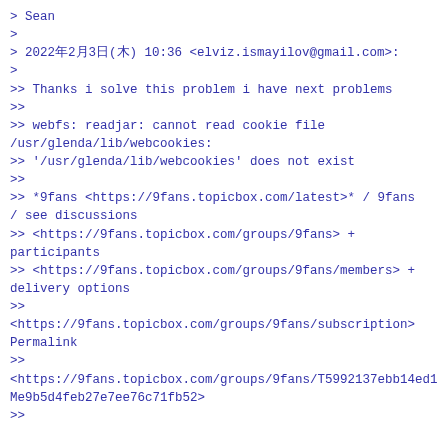> Sean
>
> 2022年2月3日(木) 10:36 <elviz.ismayilov@gmail.com>:
>
>> Thanks i solve this problem i have next problems
>>
>> webfs: readjar: cannot read cookie file /usr/glenda/lib/webcookies:
>> '/usr/glenda/lib/webcookies' does not exist
>>
>> *9fans <https://9fans.topicbox.com/latest>* / 9fans / see discussions
>> <https://9fans.topicbox.com/groups/9fans> + participants
>> <https://9fans.topicbox.com/groups/9fans/members> + delivery options
>>
<https://9fans.topicbox.com/groups/9fans/subscription> Permalink
>>
<https://9fans.topicbox.com/groups/9fans/T5992137ebb14ed1Me9b5d4feb27e7ee76c71fb52>
>>

------------------------------------------
9fans: 9fans
Permalink:
https://9fans.topicbox.com/groups/9fans/T5992137ebb14ed1cMaf9369897d50edf71951d4f8
Delivery options: